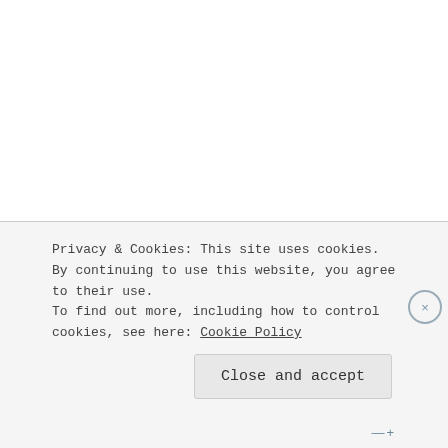Archives
November 2016  (15)
Privacy & Cookies: This site uses cookies. By continuing to use this website, you agree to their use.
To find out more, including how to control cookies, see here: Cookie Policy
Close and accept